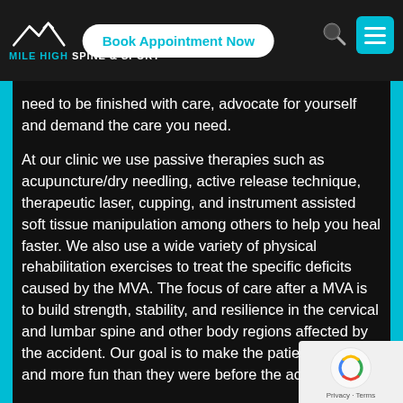Mile High Spine & Sport — Book Appointment Now
need to be finished with care, advocate for yourself and demand the care you need.
At our clinic we use passive therapies such as acupuncture/dry needling, active release technique, therapeutic laser, cupping, and instrument assisted soft tissue manipulation among others to help you heal faster. We also use a wide variety of physical rehabilitation exercises to treat the specific deficits caused by the MVA. The focus of care after a MVA is to build strength, stability, and resilience in the cervical and lumbar spine and other body regions affected by the accident. Our goal is to make the patient stronger and more functional than they were before the accident.